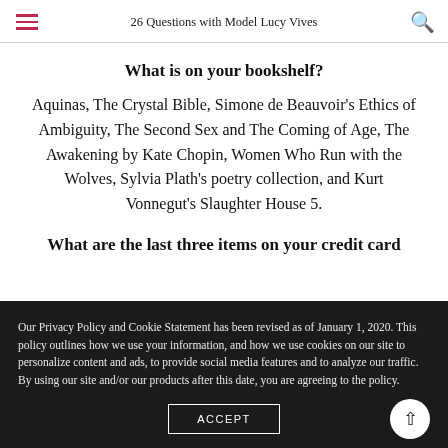26 Questions with Model Lucy Vives
What is on your bookshelf?
Aquinas, The Crystal Bible, Simone de Beauvoir’s Ethics of Ambiguity, The Second Sex and The Coming of Age, The Awakening by Kate Chopin, Women Who Run with the Wolves, Sylvia Plath’s poetry collection, and Kurt Vonnegut’s Slaughter House 5.
What are the last three items on your credit card statement?
Our Privacy Policy and Cookie Statement has been revised as of January 1, 2020. This policy outlines how we use your information, and how we use cookies on our site to personalize content and ads, to provide social media features and to analyze our traffic. By using our site and/or our products after this date, you are agreeing to the policy.